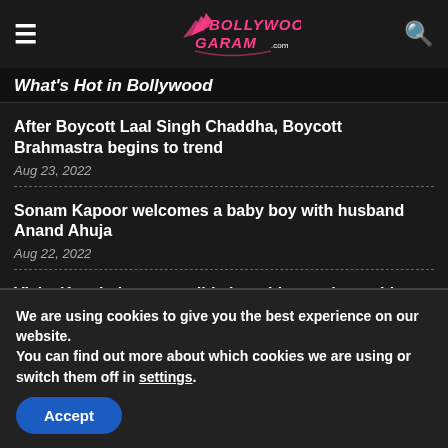Bollywood Garam .com - What's Hot in Bollywood
What's Hot in Bollywood
After Boycott Laal Singh Chaddha, Boycott Brahmastra begins to trend
Aug 23, 2022
Sonam Kapoor welcomes a baby boy with husband Anand Ahuja
Aug 22, 2022
Vicky Kaushal gets candid about his marriage with Katrina Kaif
Aug 19, 2022
We are using cookies to give you the best experience on our website.
You can find out more about which cookies we are using or switch them off in settings.